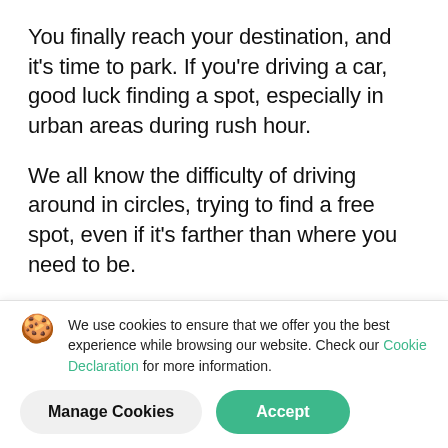You finally reach your destination, and it's time to park. If you're driving a car, good luck finding a spot, especially in urban areas during rush hour.
We all know the difficulty of driving around in circles, trying to find a free spot, even if it's farther than where you need to be.
We use cookies to ensure that we offer you the best experience while browsing our website. Check our Cookie Declaration for more information.
Manage Cookies | Accept